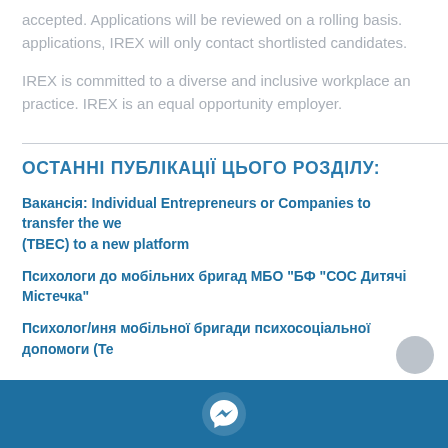accepted. Applications will be reviewed on a rolling basis. applications, IREX will only contact shortlisted candidates.
IREX is committed to a diverse and inclusive workplace and practice. IREX is an equal opportunity employer.
ОСТАННІ ПУБЛІКАЦІЇ ЦЬОГО РОЗДІЛУ:
Вакансія: Individual Entrepreneurs or Companies to transfer the we (TBEC) to a new platform
Психологи до мобільних бригад МБО "БФ "СОС Дитячі Містечка"
Психолог/иня мобільної бригади психосоціальної допомоги (Те